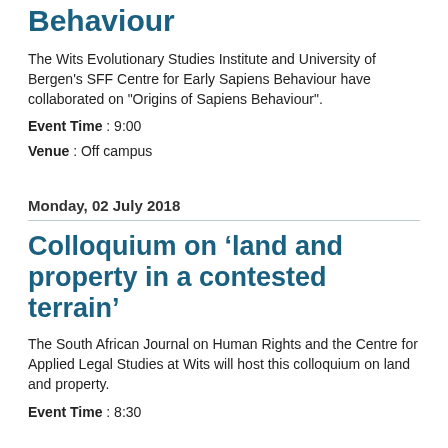Behaviour
The Wits Evolutionary Studies Institute and University of Bergen's SFF Centre for Early Sapiens Behaviour have collaborated on "Origins of Sapiens Behaviour".
Event Time : 9:00
Venue : Off campus
Monday, 02 July 2018
Colloquium on ‘land and property in a contested terrain’
The South African Journal on Human Rights and the Centre for Applied Legal Studies at Wits will host this colloquium on land and property.
Event Time : 8:30